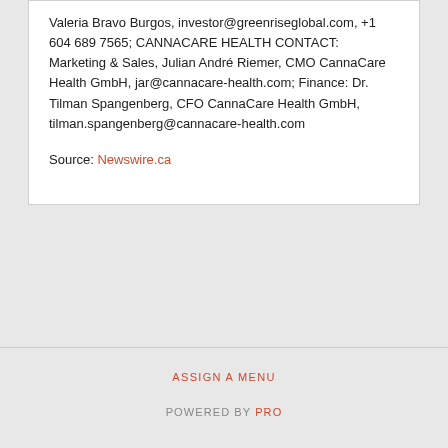Valeria Bravo Burgos, investor@greenriseglobal.com, +1 604 689 7565; CANNACARE HEALTH CONTACT: Marketing & Sales, Julian André Riemer, CMO CannaCare Health GmbH, jar@cannacare-health.com; Finance: Dr. Tilman Spangenberg, CFO CannaCare Health GmbH, tilman.spangenberg@cannacare-health.com
Source: Newswire.ca
ASSIGN A MENU
POWERED BY PRO